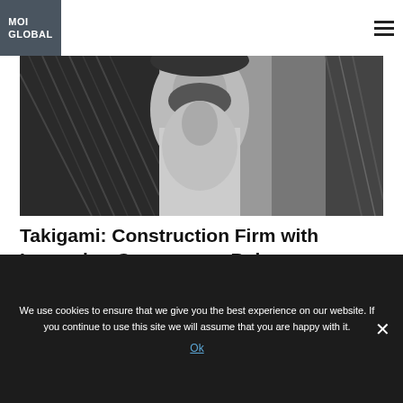[Figure (logo): MOI GLOBAL logo — white text on dark grey/slate square background]
[Figure (photo): Black and white close-up photograph of a bearded man's neck and chest area, appears to be outdoors]
Takigami: Construction Firm with Improving Governance Below Liquidation Value
We use cookies to ensure that we give you the best experience on our website. If you continue to use this site we will assume that you are happy with it.
Ok